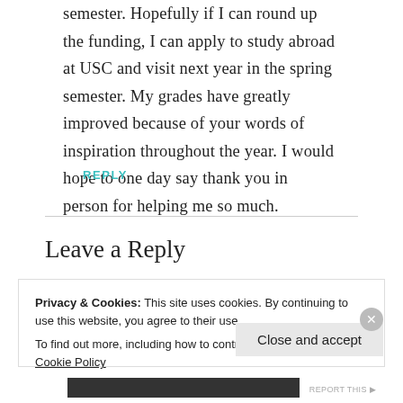semester. Hopefully if I can round up the funding, I can apply to study abroad at USC and visit next year in the spring semester. My grades have greatly improved because of your words of inspiration throughout the year. I would hope to one day say thank you in person for helping me so much.
REPLY
Leave a Reply
Privacy & Cookies: This site uses cookies. By continuing to use this website, you agree to their use.
To find out more, including how to control cookies, see here: Cookie Policy
Close and accept